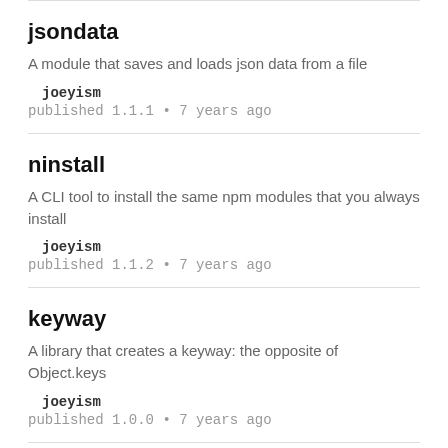jsondata
A module that saves and loads json data from a file
joeyism
published 1.1.1 • 7 years ago
ninstall
A CLI tool to install the same npm modules that you always install
joeyism
published 1.1.2 • 7 years ago
keyway
A library that creates a keyway: the opposite of Object.keys
joeyism
published 1.0.0 • 7 years ago